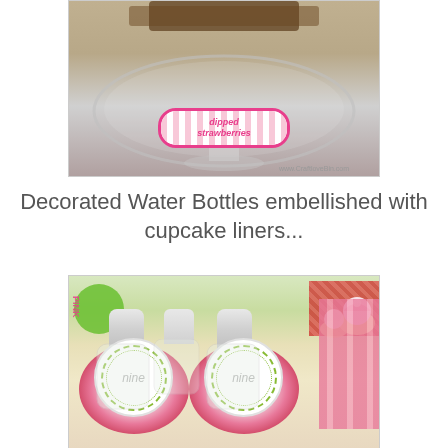[Figure (photo): Photo of a glass pedestal/cake stand with a pink and white striped label sign reading 'dipped strawberries' in cursive pink text. Background shows a glass plate and some dark items at the top. Website watermark visible at bottom right.]
Decorated Water Bottles embellished with cupcake liners...
[Figure (photo): Photo of decorated water bottles wrapped with pink ruffled cupcake liners and circular labels reading 'nine' in gray italic text, surrounded by green polka-dot dotted border circles. Green and red background with cupcakes visible in the upper right corner. A pink text label is partially visible on the left side.]